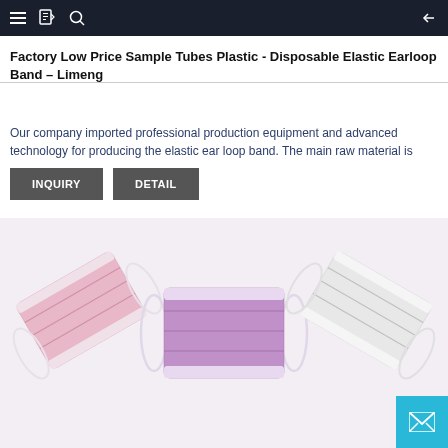Navigation bar with menu, bookmark, search icons and back arrow
Factory Low Price Sample Tubes Plastic - Disposable Elastic Earloop Band – Limeng
Our company imported professional production equipment and advanced technology for producing the elastic ear loop band. The main raw material is
[Figure (other): Two buttons: INQUIRY and DETAIL in dark grey]
[Figure (photo): Three disposable face masks with elastic ear loops arranged in a fan shape: pink on left, purple/violet in center, white/grey on right, on a light purple background]